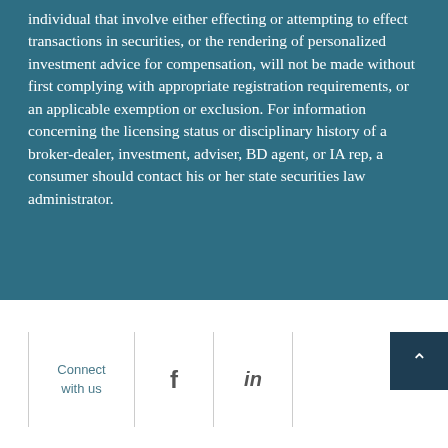individual that involve either effecting or attempting to effect transactions in securities, or the rendering of personalized investment advice for compensation, will not be made without first complying with appropriate registration requirements, or an applicable exemption or exclusion. For information concerning the licensing status or disciplinary history of a broker-dealer, investment, adviser, BD agent, or IA rep, a consumer should contact his or her state securities law administrator.
Connect with us | f | in